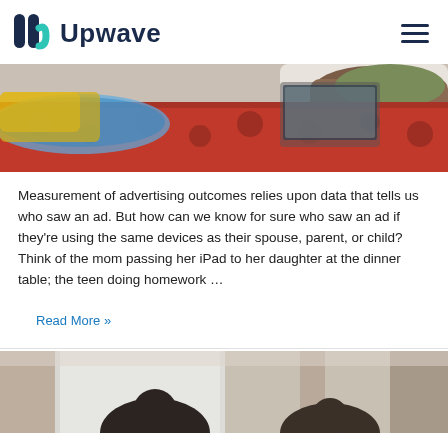Upwave
[Figure (photo): Person in bed using a laptop, covered with colorful patterned blankets and pillows]
Measurement of advertising outcomes relies upon data that tells us who saw an ad. But how can we know for sure who saw an ad if they're using the same devices as their spouse, parent, or child? Think of the mom passing her iPad to her daughter at the dinner table; the teen doing homework …
Read More »
[Figure (photo): Two people sitting indoors, curtains and window in the background]